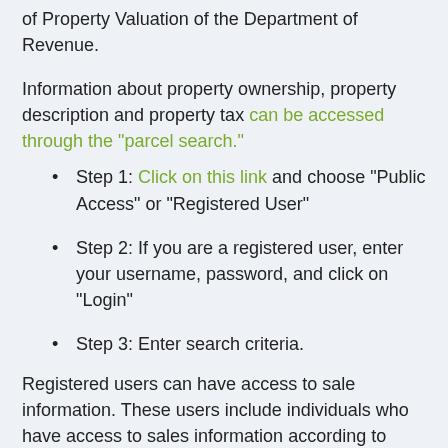of Property Valuation of the Department of Revenue.
Information about property ownership, property description and property tax can be accessed through the "parcel search."
Step 1: Click on this link and choose "Public Access" or "Registered User"
Step 2: If you are a registered user, enter your username, password, and click on "Login"
Step 3: Enter search criteria.
Registered users can have access to sale information. These users include individuals who have access to sales information according to KSA 79-1437f. Additional